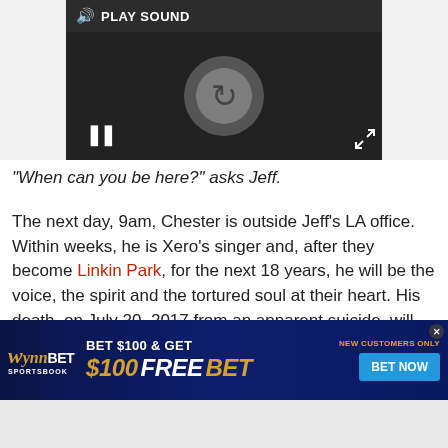[Figure (screenshot): Video player overlay with dark background, PLAY SOUND button, loading spinner, pause button, and expand icon]
"When can you be here?" asks Jeff.
The next day, 9am, Chester is outside Jeff's LA office. Within weeks, he is Xero's singer and, after they become Linkin Park, for the next 18 years, he will be the voice, the spirit and the tortured soul at their heart. His death, on July 20, 2017 from an apparent suicide, will stop a generation in its tracks.
[Figure (screenshot): WynnBET Sportsbook advertisement: BET $100 & GET $100 FREE BET, NEW CUSTOMERS ONLY, BET NOW button]